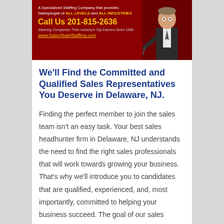[Figure (infographic): Banner ad for SalesTeamStaffing.com on dark red background with a business person image on the right. Text includes tagline, phone number 201-815-2636, and website www.SalesTeamStaffing.com]
We'll Find the Committed and Qualified Sales Representatives You Deserve in Delaware, NJ.
Finding the perfect member to join the sales team isn't an easy task. Your best sales headhunter firm in Delaware, NJ understands the need to find the right sales professionals that will work towards growing your business. That's why we'll introduce you to candidates that are qualified, experienced, and, most importantly, committed to helping your business succeed. The goal of our sales headhunter company in Delaware, NJ is to not only find a qualified sales